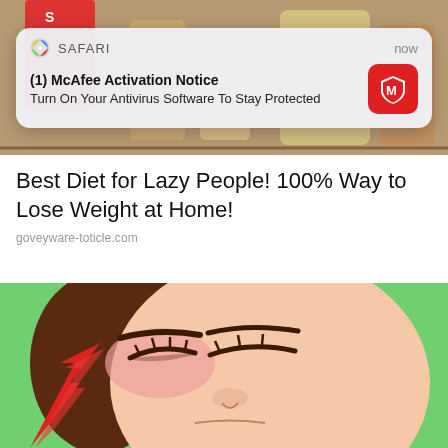[Figure (photo): Top portion of a webpage showing drink bottles/jars in the background]
[Figure (screenshot): Safari browser push notification: (1) McAfee Activation Notice - Turn On Your Antivirus Software To Stay Protected, with McAfee red icon]
Best Diet for Lazy People! 100% Way to Lose Weight at Home!
goveyware-toticle.com
[Figure (illustration): Pop-art style illustration of a woman with brown hair wincing or in pain, with a red lightning bolt, on a green background]